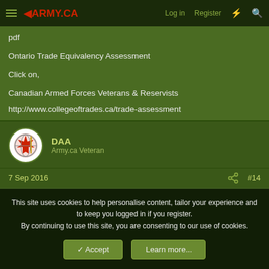ARMY.CA — Log in | Register
pdf
Ontario Trade Equivalency Assessment
Click on,
Canadian Armed Forces Veterans & Reservists
http://www.collegeoftrades.ca/trade-assessment
DAA
Army.ca Veteran
7 Sep 2016
#14
This site uses cookies to help personalise content, tailor your experience and to keep you logged in if you register.
By continuing to use this site, you are consenting to our use of cookies.
Accept | Learn more...